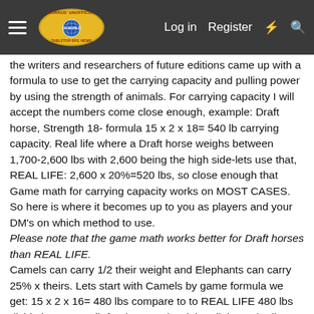Morrus' Unofficial Tabletop RPG News — Log in | Register
the writers and researchers of future editions came up with a formula to use to get the carrying capacity and pulling power by using the strength of animals. For carrying capacity I will accept the numbers come close enough, example: Draft horse, Strength 18- formula 15 x 2 x 18= 540 lb carrying capacity. Real life where a Draft horse weighs between 1,700-2,600 lbs with 2,600 being the high side-lets use that, REAL LIFE: 2,600 x 20%=520 lbs, so close enough that Game math for carrying capacity works on MOST CASES. So here is where it becomes up to you as players and your DM's on which method to use.
Please note that the game math works better for Draft horses than REAL LIFE.
Camels can carry 1/2 their weight and Elephants can carry 25% x theirs. Lets start with Camels by game formula we get: 15 x 2 x 16= 480 lbs compare to to REAL LIFE 480 lbs divide by 2 = 240 lb for the camel weight a little on the lite